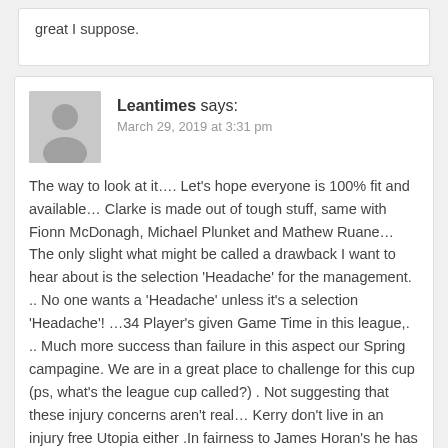great I suppose.
Leantimes says:
March 29, 2019 at 3:31 pm
The way to look at it…. Let's hope everyone is 100% fit and available… Clarke is made out of tough stuff, same with Fionn McDonagh, Michael Plunket and Mathew Ruane… The only slight what might be called a drawback I want to hear about is the selection 'Headache' for the management. .. No one wants a 'Headache' unless it's a selection 'Headache'! …34 Player's given Game Time in this league,. .. Much more success than failure in this aspect our Spring campagine. We are in a great place to challenge for this cup (ps, what's the league cup called?) . Not suggesting that these injury concerns aren't real… Kerry don't live in an injury free Utopia either .In fairness to James Horan's he has exceeded most people's expectations, in terms of increasingly the very competitive squad…We're on the one road now, and we're on